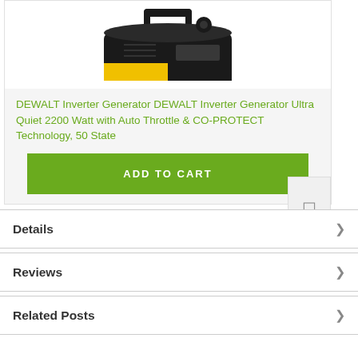[Figure (photo): DEWALT inverter generator product photo showing black and yellow portable generator with handle, viewed from top-front angle]
DEWALT Inverter Generator DEWALT Inverter Generator Ultra Quiet 2200 Watt with Auto Throttle & CO-PROTECT Technology, 50 State
ADD TO CART
Details
Reviews
Related Posts